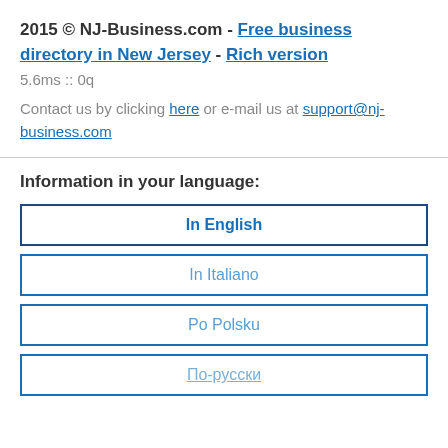2015 © NJ-Business.com - Free business directory in New Jersey - Rich version
5.6ms :: 0q
Contact us by clicking here or e-mail us at support@nj-business.com
Information in your language:
In English
In Italiano
Po Polsku
По-русски